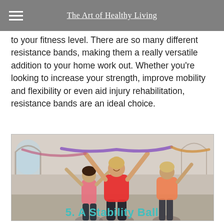The Art of Healthy Living
to your fitness level. There are so many different resistance bands, making them a really versatile addition to your home work out. Whether you're looking to increase your strength, improve mobility and flexibility or even aid injury rehabilitation, resistance bands are an ideal choice.
[Figure (photo): Three women in athletic wear exercising with resistance bands in a gym with arched brick walls. The woman in the center front wears a red sports bra and holds a purple resistance band overhead, smiling.]
5. A Stability Ball